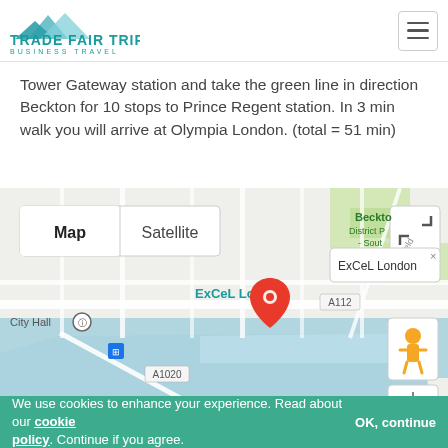TRADE FAIR TRIPS BUSINESS TRAVEL
Tower Gateway station and take the green line in direction Beckton for 10 stops to Prince Regent station. In 3 min walk you will arrive at Olympia London. (total = 51 min)
[Figure (map): Google Map showing ExCeL London location with red pin marker, map/satellite toggle buttons, City Hall label, A112 and A1020 road labels, Beckton District label, zoom controls and street view pegman. Blue water area visible (Royal Victoria Dock).]
We use cookies to enhance your experience. Read about our cookie policy. Continue if you agree. OK, continue